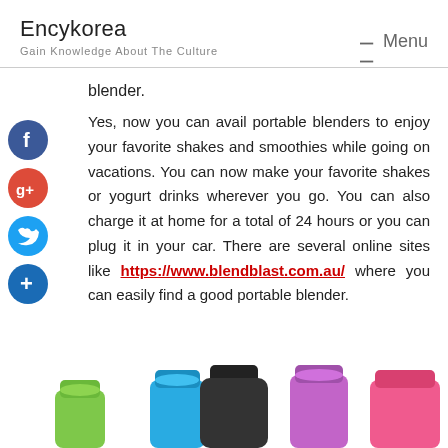Encykorea
Gain Knowledge About The Culture
blender.
Yes, now you can avail portable blenders to enjoy your favorite shakes and smoothies while going on vacations. You can now make your favorite shakes or yogurt drinks wherever you go. You can also charge it at home for a total of 24 hours or you can plug it in your car. There are several online sites like https://www.blendblast.com.au/ where you can easily find a good portable blender.
[Figure (photo): Colorful portable blenders in green, blue, black, purple, and pink colors at the bottom of the page]